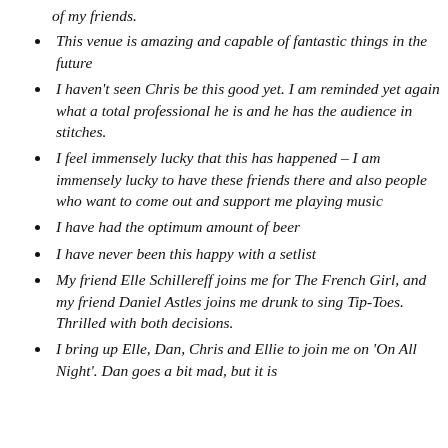of my friends.
This venue is amazing and capable of fantastic things in the future
I haven't seen Chris be this good yet. I am reminded yet again what a total professional he is and he has the audience in stitches.
I feel immensely lucky that this has happened – I am immensely lucky to have these friends there and also people who want to come out and support me playing music
I have had the optimum amount of beer
I have never been this happy with a setlist
My friend Elle Schillereff joins me for The French Girl, and my friend Daniel Astles joins me drunk to sing Tip-Toes. Thrilled with both decisions.
I bring up Elle, Dan, Chris and Ellie to join me on 'On All Night'. Dan goes a bit mad, but it is